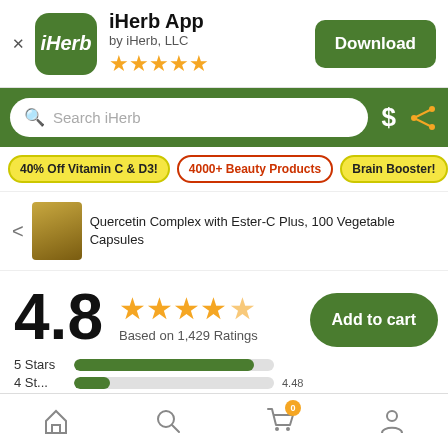[Figure (screenshot): iHerb app download banner with logo, app name, rating stars, and Download button]
[Figure (screenshot): Green search bar with Search iHerb placeholder, dollar icon, and share icon]
40% Off Vitamin C & D3!
4000+ Beauty Products
Brain Booster!
Quercetin Complex with Ester-C Plus, 100 Vegetable Capsules
4.8
Based on 1,429 Ratings
5 Stars
Add to cart